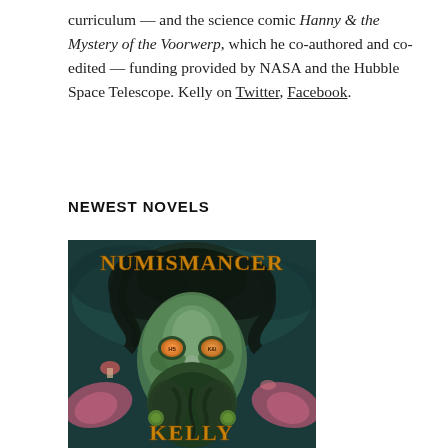curriculum — and the science comic Hanny & the Mystery of the Voorwerp, which he co-authored and co-edited — funding provided by NASA and the Hubble Space Telescope. Kelly on Twitter, Facebook.
NEWEST NOVELS
[Figure (illustration): Book cover of 'Numismancer' by Kelly. Dark teal/green background with a fantastical bearded man's face with coin-like glowing eyes (one marked H5, one marked K&I). The word NUMISMANCER appears in large gold/orange letters at the top, and KELLY in large gold/orange letters at the bottom. The figure has wild dark hair, a long green beard, and is surrounded by mushrooms and pink wing-like shapes.]